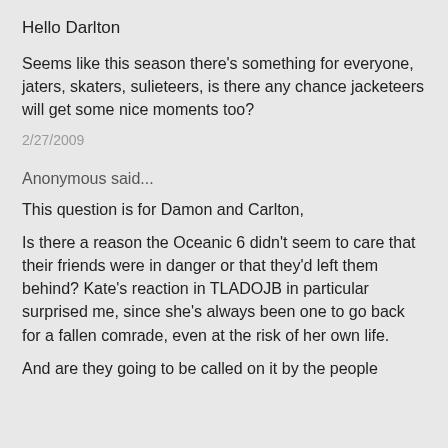Hello Darlton
Seems like this season there's something for everyone, jaters, skaters, sulieteers, is there any chance jacketeers will get some nice moments too?
2/27/2009
Anonymous said...
This question is for Damon and Carlton,
Is there a reason the Oceanic 6 didn't seem to care that their friends were in danger or that they'd left them behind? Kate's reaction in TLADOJB in particular surprised me, since she's always been one to go back for a fallen comrade, even at the risk of her own life.
And are they going to be called on it by the people